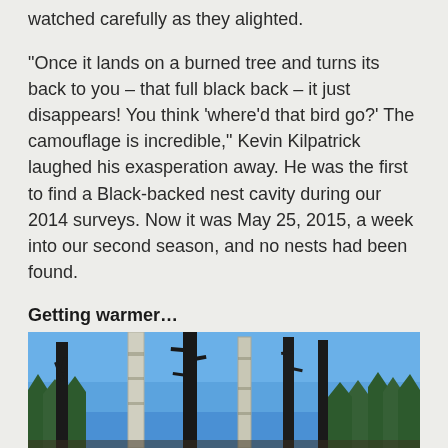watched carefully as they alighted.
“Once it lands on a burned tree and turns its back to you – that full black back – it just disappears! You think ‘where’d that bird go?’ The camouflage is incredible,” Kevin Kilpatrick laughed his exasperation away. He was the first to find a Black-backed nest cavity during our 2014 surveys. Now it was May 25, 2015, a week into our second season, and no nests had been found.
Getting warmer…
[Figure (photo): Photo of burned trees with bare black trunks against a bright blue sky, with some white birch trunks and green conifers visible in the background.]